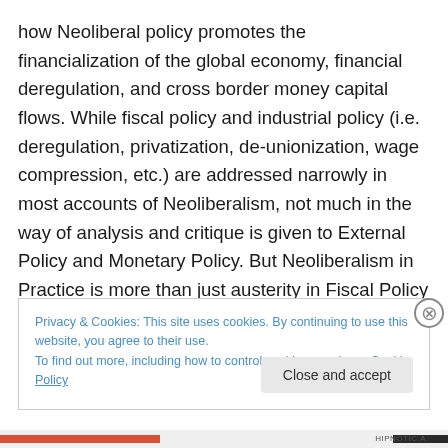how Neoliberal policy promotes the financialization of the global economy, financial deregulation, and cross border money capital flows. While fiscal policy and industrial policy (i.e. deregulation, privatization, de-unionization, wage compression, etc.) are addressed narrowly in most accounts of Neoliberalism, not much in the way of analysis and critique is given to External Policy and Monetary Policy. But Neoliberalism in Practice is more than just austerity in Fiscal Policy or deregulation-privatization in Industrial Policy.
Privacy & Cookies: This site uses cookies. By continuing to use this website, you agree to their use. To find out more, including how to control cookies, see here: Cookie Policy
HIPNOTIC.A